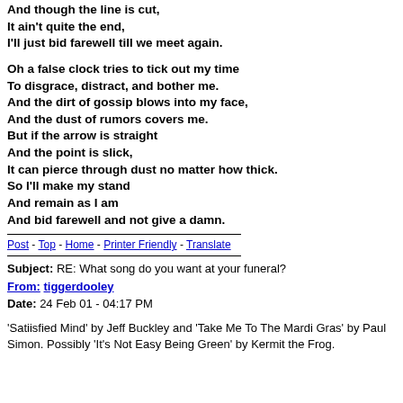And though the line is cut,
It ain't quite the end,
I'll just bid farewell till we meet again.

Oh a false clock tries to tick out my time
To disgrace, distract, and bother me.
And the dirt of gossip blows into my face,
And the dust of rumors covers me.
But if the arrow is straight
And the point is slick,
It can pierce through dust no matter how thick.
So I'll make my stand
And remain as I am
And bid farewell and not give a damn.
Post - Top - Home - Printer Friendly - Translate
Subject: RE: What song do you want at your funeral?
From: tiggerdooley
Date: 24 Feb 01 - 04:17 PM
'Satiisfied Mind' by Jeff Buckley and 'Take Me To The Mardi Gras' by Paul Simon. Possibly 'It's Not Easy Being Green' by Kermit the Frog.